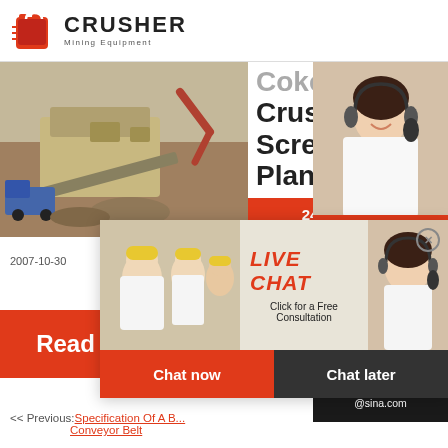[Figure (logo): Crusher Mining Equipment logo with red shopping bag icon and bold CRUSHER text]
[Figure (photo): Aerial view of a mobile crushing and screening plant at a mining site with excavators and trucks]
Coke Crushing and Screening Plant
[Figure (infographic): 24Hrs Online badge in red]
2007-10-30
[Figure (infographic): Live Chat popup overlay with construction workers photo, LIVE CHAT title, Click for a Free Consultation text, Chat now and Chat later buttons, and customer service lady photo]
[Figure (photo): Customer service representative with headset on right sidebar]
Need questions & suggestion?
Chat Now
Enquiry
limingjlmofen@sina.com
[Figure (infographic): Read More button in orange/red]
<< Previous:Specification Of A Belt Conveyor Belt